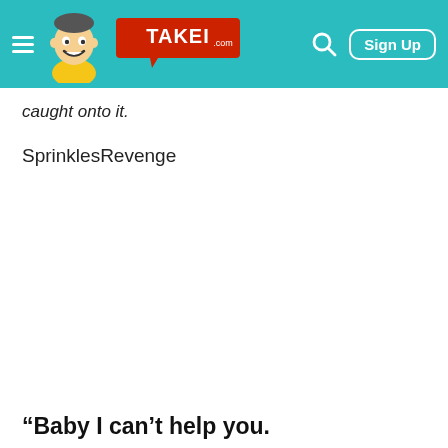TAKEI.com — Sign Up
caught onto it.
SprinklesRevenge
“Baby I can’t help you.